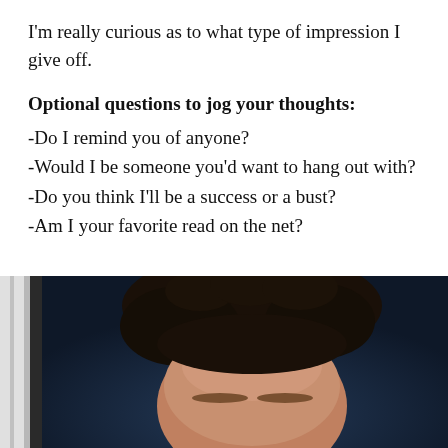I'm really curious as to what type of impression I give off.
Optional questions to jog your thoughts:
-Do I remind you of anyone?
-Would I be someone you'd want to hang out with?
-Do you think I'll be a success or a bust?
-Am I your favorite read on the net?
[Figure (photo): Portrait photo of a person with dark curly hair against a dark blue background, showing mainly the top of the head and forehead area.]